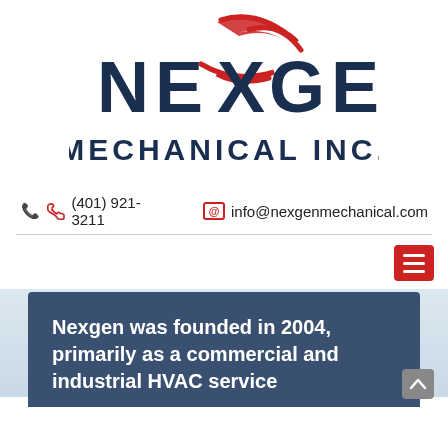[Figure (logo): NexGen Mechanical Inc. logo with dark navy lettering and red swoosh accent above the letters]
(401) 921-3211   info@nexgenmechanical.com
[Figure (screenshot): Light blue-grey hero banner with faint watermark text NEXGEN MECHANICAL and a dark blue content box at the bottom reading: Nexgen was founded in 2004, primarily as a commercial and industrial HVAC service...]
Nexgen was founded in 2004, primarily as a commercial and industrial HVAC service